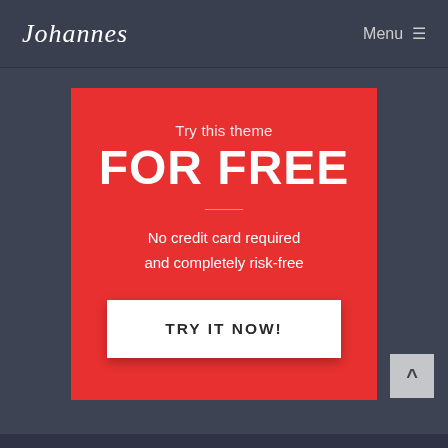Johannes  Menu ≡
FOR FREE
Try this theme
No credit card required and completely risk-free
TRY IT NOW!